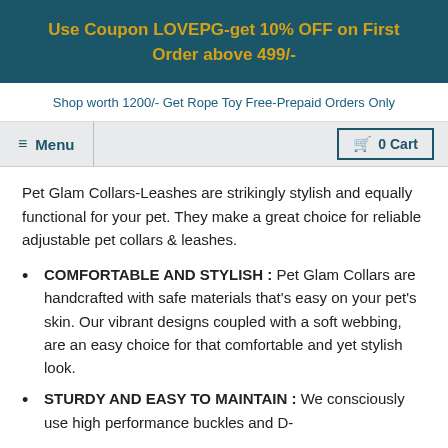Use Coupon LOVEPG-get 10% OFF on First Order above 499/-
Shop worth 1200/- Get Rope Toy Free-Prepaid Orders Only
Menu  0 Cart
Pet Glam Collars-Leashes are strikingly stylish and equally functional for your pet. They make a great choice for reliable adjustable pet collars & leashes.
COMFORTABLE AND STYLISH : Pet Glam Collars are handcrafted with safe materials that's easy on your pet's skin. Our vibrant designs coupled with a soft webbing, are an easy choice for that comfortable and yet stylish look.
STURDY AND EASY TO MAINTAIN : We consciously use high performance buckles and D-